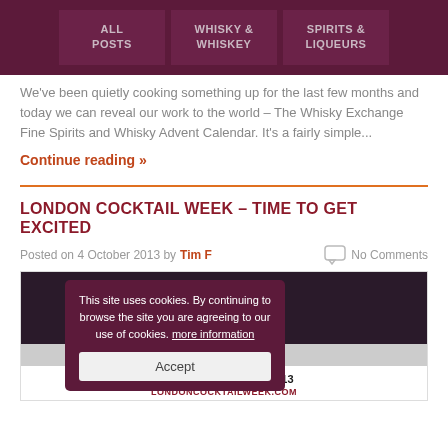ALL POSTS | WHISKY & WHISKEY | SPIRITS & LIQUEURS
We've been quietly cooking something up for the last few months and today we can reveal our work to the world – The Whisky Exchange Fine Spirits and Whisky Advent Calendar. It's a fairly simple...
Continue reading »
LONDON COCKTAIL WEEK – TIME TO GET EXCITED
Posted on 4 October 2013 by Tim F   No Comments
[Figure (screenshot): London Cocktail Week promotional image showing dates 7-13 October 2013 with londoncocktailweek.com URL, partially obscured by a cookie consent overlay popup]
This site uses cookies. By continuing to browse the site you are agreeing to our use of cookies. more information
Accept